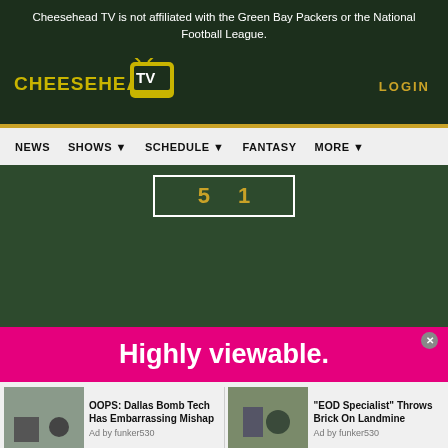Cheesehead TV is not affiliated with the Green Bay Packers or the National Football League.
[Figure (logo): Cheesehead TV logo with yellow text and TV icon]
LOGIN
NEWS   SHOWS   SCHEDULE   FANTASY   MORE
[Figure (screenshot): Green background with score board showing numbers 5 and 1 in gold]
[Figure (infographic): Pink advertisement banner with text 'Highly viewable.']
[Figure (infographic): Bottom ad strip with two sponsored content items: 'OOPS: Dallas Bomb Tech Has Embarrassing Mishap' and 'EOD Specialist Throws Brick On Landmine', both by funker530]